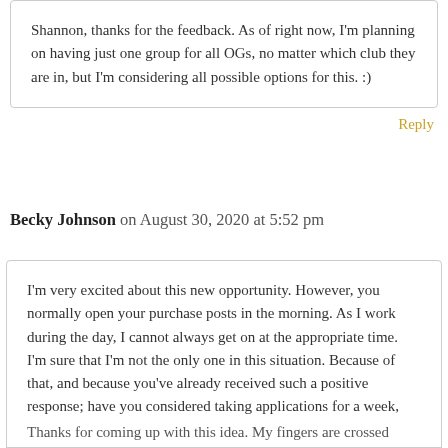Shannon, thanks for the feedback. As of right now, I'm planning on having just one group for all OGs, no matter which club they are in, but I'm considering all possible options for this. :)
Reply
Becky Johnson on August 30, 2020 at 5:52 pm
I'm very excited about this new opportunity. However, you normally open your purchase posts in the morning. As I work during the day, I cannot always get on at the appropriate time. I'm sure that I'm not the only one in this situation. Because of that, and because you've already received such a positive response; have you considered taking applications for a week, and putting them into a lottery? Limit one application per person, of course.
Thanks for coming up with this idea. My fingers are crossed